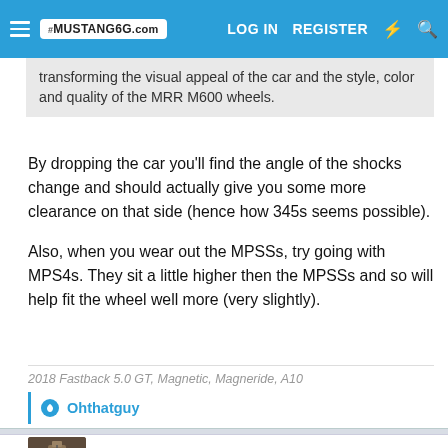Mustang6G.com — LOG IN  REGISTER
transforming the visual appeal of the car and the style, color and quality of the MRR M600 wheels.
By dropping the car you'll find the angle of the shocks change and should actually give you some more clearance on that side (hence how 345s seems possible).
Also, when you wear out the MPSSs, try going with MPS4s. They sit a little higher then the MPSSs and so will help fit the wheel well more (very slightly).
2018 Fastback 5.0 GT, Magnetic, Magneride, A10
Ohthatguy
sigintel